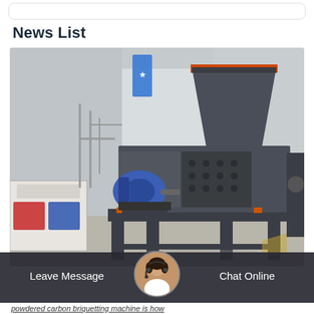News List
[Figure (photo): Industrial briquetting machine (carbon/coal press) displayed in a factory/warehouse setting. The machine is dark grey with an orange-rimmed hopper on top, a large roller press mechanism in the center, and a blue electric motor on the left side. The machine sits on a heavy steel frame. Other industrial machines are visible in the background.]
Leave Message    Chat Online
powdered carbon briquetting machine is how